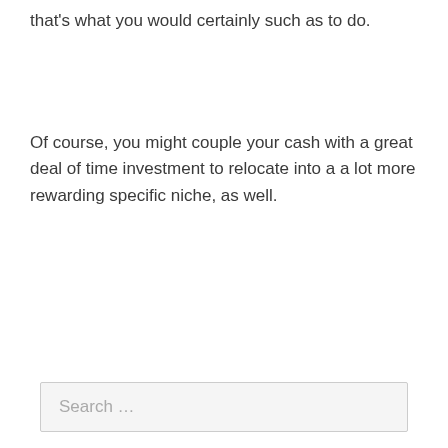that's what you would certainly such as to do.
Of course, you might couple your cash with a great deal of time investment to relocate into a a lot more rewarding specific niche, as well.
Search …